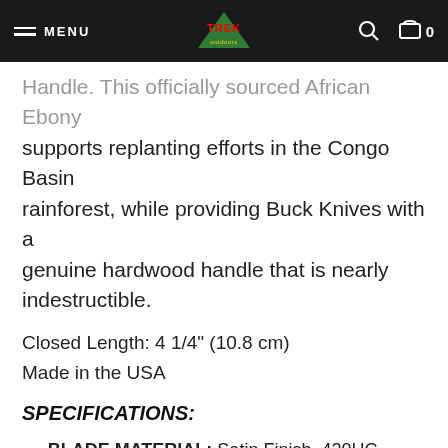MENU | TREK | 0
Handle. This officially sourced African Ebony supports replanting efforts in the Congo Basin rainforest, while providing Buck Knives with a genuine hardwood handle that is nearly indestructible.
Closed Length: 4 1/4" (10.8 cm)
Made in the USA
SPECIFICATIONS:
BLADE MATERIAL: Satin Finish, 420HC Stainless Steel
BLADE SHAPE: Drop Point
BLADE LENGTH: 3 3/4" (9.5 cm)
WEIGHT: 3.2 oz. (91.1 g)